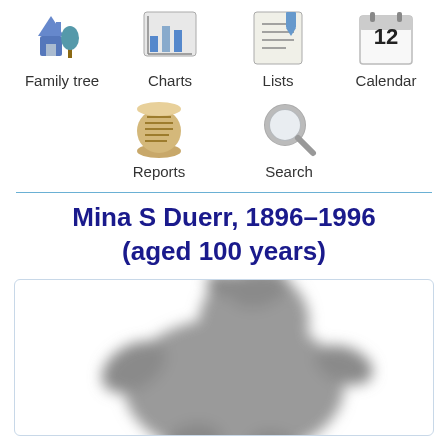[Figure (screenshot): Navigation icons row 1: Family tree, Charts, Lists, Calendar]
[Figure (screenshot): Navigation icons row 2: Reports, Search]
Mina S Duerr, 1896–1996 (aged 100 years)
[Figure (photo): Blurred/silhouette photo of a person, placeholder image in a rounded rectangle box]